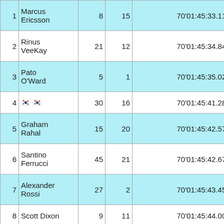| Pos | Name | Car | Grid | Time |
| --- | --- | --- | --- | --- |
| 1 | Marcus Ericsson | 8 | 15 | 70'01:45:33.1123 |
| 2 | Rinus VeeKay | 21 | 12 | 70'01:45:34.8413 |
| 3 | Pato O'Ward | 5 | 1 | 70'01:45:35.0228 |
| 4 | 🇰🇷 🇰🇷 | 30 | 16 | 70'01:45:41.2811 |
| 5 | Graham Rahal | 15 | 20 | 70'01:45:42.5768 |
| 6 | Santino Ferrucci | 45 | 21 | 70'01:45:42.6793 |
| 7 | Alexander Rossi | 27 | 2 | 70'01:45:43.4529 |
| 8 | Scott Dixon | 9 | 11 | 70'01:45:44.0079 |
| 9 | Ed Jones | 18 | 4 | 70'01:45:45.0551 |
| 10 | Josef |  |  |  |